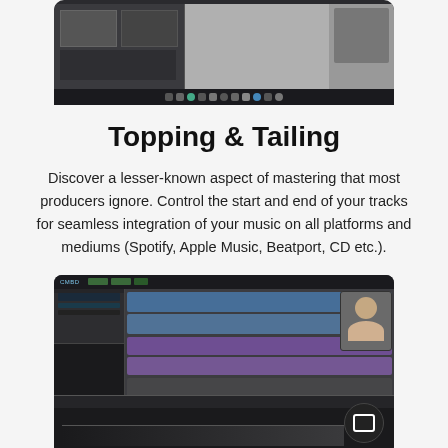[Figure (screenshot): Screenshot of a digital audio workstation (DAW) software on a Mac, showing the macOS dock at the bottom.]
Topping & Tailing
Discover a lesser-known aspect of mastering that most producers ignore. Control the start and end of your tracks for seamless integration of your music on all platforms and mediums (Spotify, Apple Music, Beatport, CD etc.).
[Figure (screenshot): Screenshot of a DAW (Logic Pro or similar) showing audio tracks, with a picture-in-picture of an instructor, and a chat button overlay.]